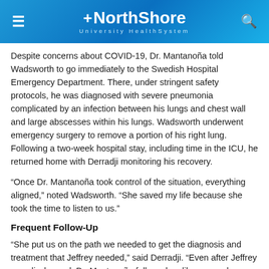NorthShore University HealthSystem
Despite concerns about COVID-19, Dr. Mantanoña told Wadsworth to go immediately to the Swedish Hospital Emergency Department. There, under stringent safety protocols, he was diagnosed with severe pneumonia complicated by an infection between his lungs and chest wall and large abscesses within his lungs. Wadsworth underwent emergency surgery to remove a portion of his right lung. Following a two-week hospital stay, including time in the ICU, he returned home with Derradji monitoring his recovery.
“Once Dr. Mantanoña took control of the situation, everything aligned,” noted Wadsworth. “She saved my life because she took the time to listen to us.”
Frequent Follow-Up
“She put us on the path we needed to get the diagnosis and treatment that Jeffrey needed,” said Derradji. “Even after Jeffrey was discharged, Dr. Mantanoña followed up like no one has done before.”